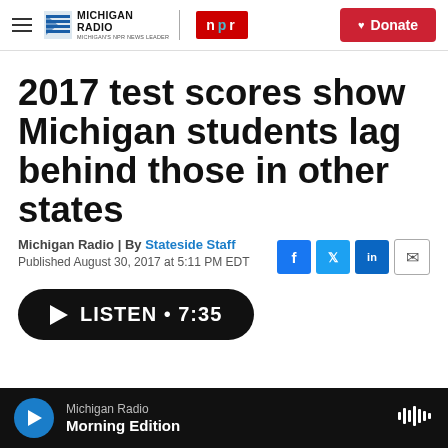Michigan Radio | NPR | Donate
2017 test scores show Michigan students lag behind those in other states
Michigan Radio | By Stateside Staff
Published August 30, 2017 at 5:11 PM EDT
[Figure (other): Audio listen player button showing LISTEN • 7:35]
Michigan Radio — Morning Edition (audio player bar)